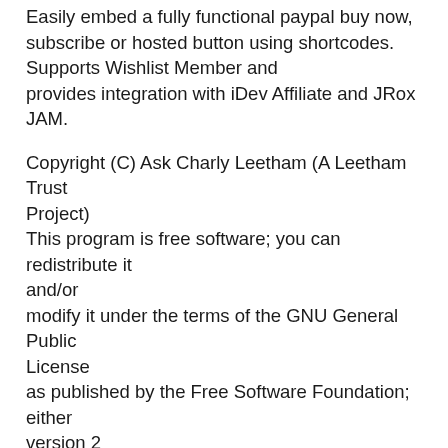Easily embed a fully functional paypal buy now, subscribe or hosted button using shortcodes. Supports Wishlist Member and provides integration with iDev Affiliate and JRox JAM.
Copyright (C) Ask Charly Leetham (A Leetham Trust Project)
This program is free software; you can redistribute it and/or
modify it under the terms of the GNU General Public License
as published by the Free Software Foundation; either version 2
of the License, or (at your option) any later version.
This program is distributed in the hope that it will be useful,
but WITHOUT ANY WARRANTY; without even the implied warranty of
MERCHANTABILITY or FITNESS FOR A PARTICULAR